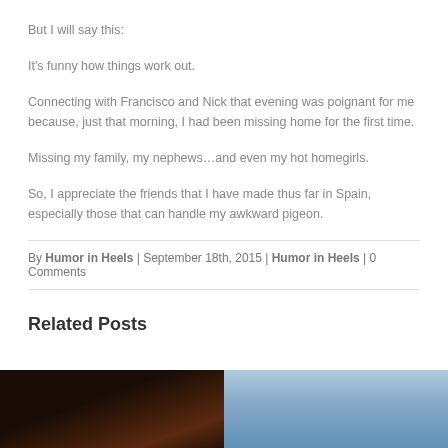But I will say this:
It's funny how things work out.
Connecting with Francisco and Nick that evening was poignant for me because, just that morning, I had been missing home for the first time.
Missing my family, my nephews...and even my hot homegirls.
So, I appreciate the friends that I have made thus far in Spain, especially those that can handle my awkward pigeon.
By Humor in Heels | September 18th, 2015 | Humor in Heels | 0 Comments
Related Posts
[Figure (photo): Photo of two people at a dark venue]
[Figure (photo): Photo with blue sky background]